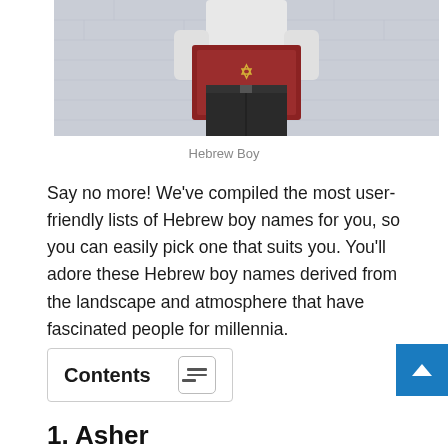[Figure (photo): A person (Hebrew boy) in a white shirt and black pants reading a book with a Star of David on its cover, standing against a white brick wall background.]
Hebrew Boy
Say no more! We've compiled the most user-friendly lists of Hebrew boy names for you, so you can easily pick one that suits you. You'll adore these Hebrew boy names derived from the landscape and atmosphere that have fascinated people for millennia.
Contents
1. Asher